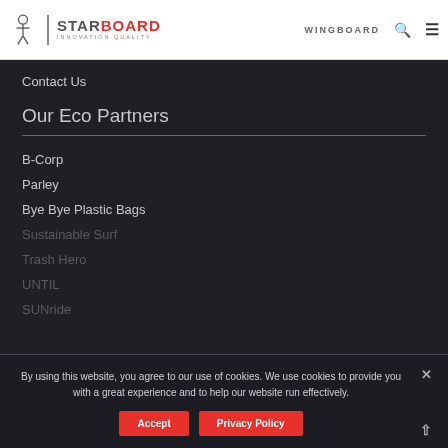[Figure (logo): Starboard logo with icon, divider, STARBOARD text in gray/red, and INNOVATION QUALITY tagline]
WINGBOARD
Contact Us
Our Eco Partners
B-Corp
Parley
Bye Bye Plastic Bags
Sustainable Surf
Trash Hero
UNTIL
SUNride
By using this website, you agree to our use of cookies. We use cookies to provide you with a great experience and to help our website run effectively.